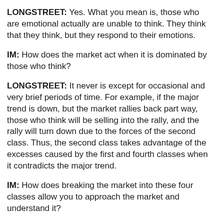LONGSTREET: Yes. What you mean is, those who are emotional actually are unable to think. They think that they think, but they respond to their emotions.
IM: How does the market act when it is dominated by those who think?
LONGSTREET: It never is except for occasional and very brief periods of time. For example, if the major trend is down, but the market rallies back part way, those who think will be selling into the rally, and the rally will turn down due to the forces of the second class. Thus, the second class takes advantage of the excesses caused by the first and fourth classes when it contradicts the major trend.
IM: How does breaking the market into these four classes allow you to approach the market and understand it?